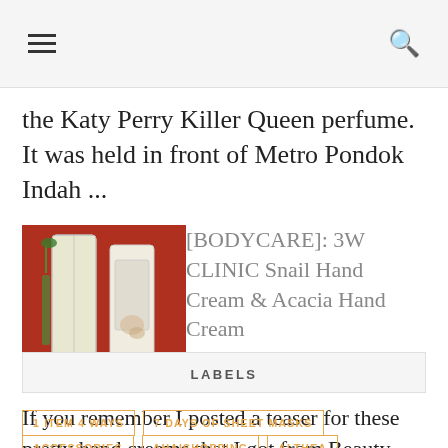[hamburger menu icon] [search icon]
the Katy Perry Killer Queen perfume. It was held in front of Metro Pondok Indah ...
[Figure (photo): Product photo of hand cream packages on red background]
[BODYCARE]: 3W CLINIC Snail Hand Cream & Acacia Hand Cream
If you remember I posted a teaser for these pretty hand creams that I got from Beauty Korea a while ago. Due to my hectic "moving out...
LABELS
1 ITEM 4 WAYS
7 DAYS OF SHEET MASKS
ACCESSORIES
AHAISHOPPING
ALTHEA